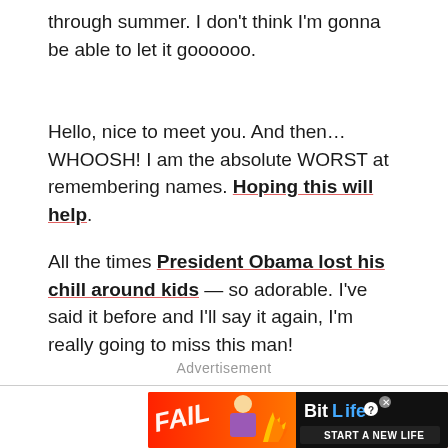through summer. I don't think I'm gonna be able to let it goooooo.
Hello, nice to meet you. And then…WHOOSH! I am the absolute WORST at remembering names. Hoping this will help.
All the times President Obama lost his chill around kids — so adorable. I've said it before and I'll say it again, I'm really going to miss this man!
Advertisement
[Figure (photo): BitLife advertisement banner with FAIL text and cartoon girl with fire flames, dark background on right with BitLife logo and START A NEW LIFE text]